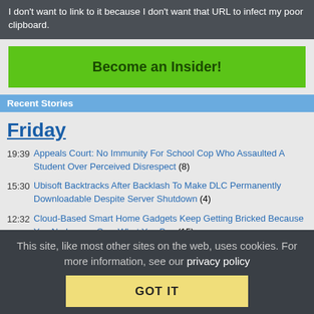I don't want to link to it because I don't want that URL to infect my poor clipboard.
Become an Insider!
Recent Stories
Friday
19:39 Appeals Court: No Immunity For School Cop Who Assaulted A Student Over Perceived Disrespect (8)
15:30 Ubisoft Backtracks After Backlash To Make DLC Permanently Downloadable Despite Server Shutdown (4)
12:32 Cloud-Based Smart Home Gadgets Keep Getting Bricked Because You No Longer Own What You Buy (15)
10:47 Encrypted Phone Provider Calls It Quits After Failing To Persuade Middlemen To Roll Their Own Device Management Systems (5)
This site, like most other sites on the web, uses cookies. For more information, see our privacy policy
GOT IT